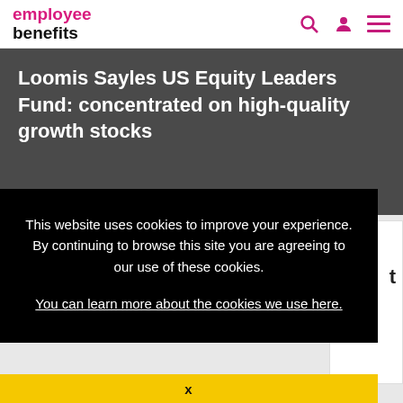employee benefits
Loomis Sayles US Equity Leaders Fund: concentrated on high-quality growth stocks
This website uses cookies to improve your experience. By continuing to browse this site you are agreeing to our use of these cookies.
You can learn more about the cookies we use here.
x